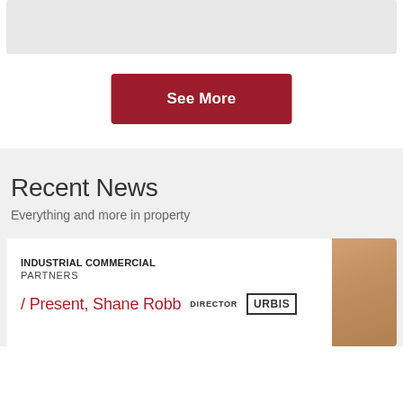[Figure (other): Gray bar placeholder at top of page]
See More
Recent News
Everything and more in property
INDUSTRIAL COMMERCIAL PARTNERS
Present, Shane Robb DIRECTOR URBIS
[Figure (photo): Partial photo of a person's head/face cropped at right side of card]